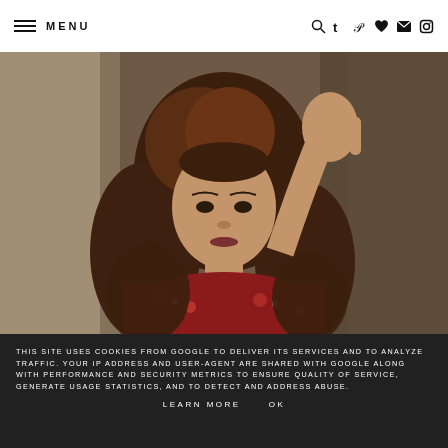MENU
[Figure (photo): Portrait photo of a young woman with long wavy brown hair, wearing a red floral top, hand raised to her head, indoors with soft background.]
THIS SITE USES COOKIES FROM GOOGLE TO DELIVER ITS SERVICES AND TO ANALYZE TRAFFIC. YOUR IP ADDRESS AND USER-AGENT ARE SHARED WITH GOOGLE ALONG WITH PERFORMANCE AND SECURITY METRICS TO ENSURE QUALITY OF SERVICE, GENERATE USAGE STATISTICS, AND TO DETECT AND ADDRESS ABUSE.
LEARN MORE   OK